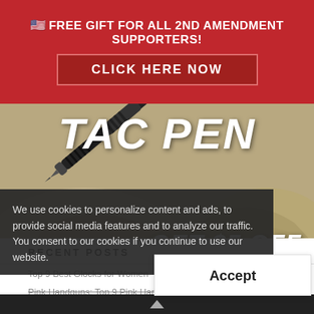🇺🇸 FREE GIFT FOR ALL 2ND AMENDMENT SUPPORTERS!
CLICK HERE NOW
[Figure (photo): TAC PEN product photo on rocks background with text GET $5 OFF and CLICK HERE button, and GET YOUR HOFFMAN RICHTER TAC PEN BEFORE SUPPLIES RUN OUT!]
We use cookies to personalize content and ads, to provide social media features and to analyze our traffic. You consent to our cookies if you continue to use our website.
RECENT POSTS
Top 9 Best Glocks for Women
Pink Handguns: Top 9 Pink Handguns
Accept